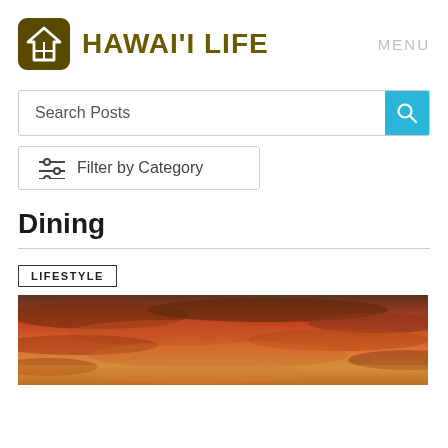[Figure (logo): Hawaii Life logo: brown rounded square with white house icon, followed by bold olive/brown text HAWAI'I LIFE, and gray MENU text on the right]
Search Posts
Filter by Category
Dining
LIFESTYLE
[Figure (photo): Sunset sky photo with dramatic orange, red, and purple clouds filling the frame]